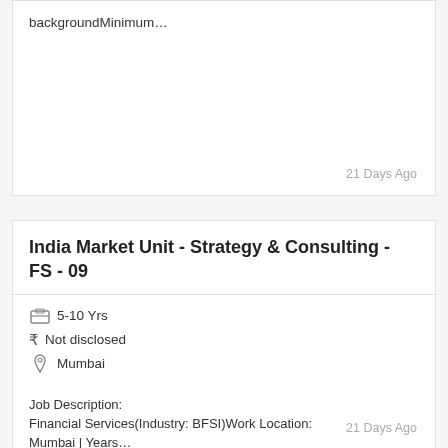backgroundMinimum…
21 Days Ago
India Market Unit - Strategy & Consulting - FS - 09
5-10 Yrs
₹ Not disclosed
Mumbai
Job Description:
Financial Services(Industry: BFSI)Work Location: Mumbai | Years…
21 Days Ago